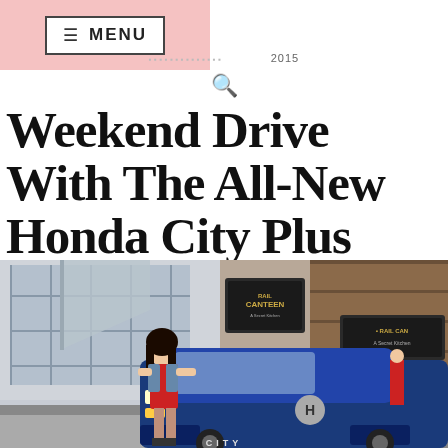≡ MENU
2015
Weekend Drive With The All-New Honda City Plus Flyboarding in Malaysia
[Figure (photo): A young woman in a red dress standing in front of a blue Honda City car, with a Rail Canteen restaurant facade visible in the background. The setting appears to be an outdoor venue in Malaysia.]